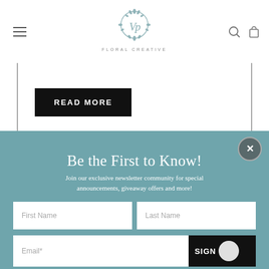[Figure (logo): VP Floral Creative logo — circular botanical design with stylized VP monogram]
FLORAL CREATIVE
[Figure (other): READ MORE button — black rectangle with white uppercase text]
Be the First to Know!
Join our exclusive newsletter community for special announcements, giveaway offers and more!
First Name
Last Name
Email*
SIGN